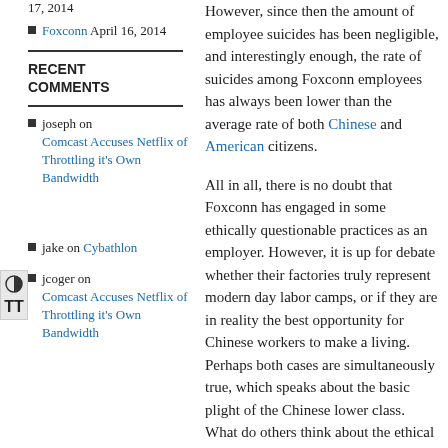17, 2014
Foxconn April 16, 2014
RECENT COMMENTS
joseph on Comcast Accuses Netflix of Throttling it's Own Bandwidth
jake on Cybathlon
jcoger on Comcast Accuses Netflix of Throttling it's Own Bandwidth
However, since then the amount of employee suicides has been negligible, and interestingly enough, the rate of suicides among Foxconn employees has always been lower than the average rate of both Chinese and American citizens.
All in all, there is no doubt that Foxconn has engaged in some ethically questionable practices as an employer.  However, it is up for debate whether their factories truly represent modern day labor camps, or if they are in reality the best opportunity for Chinese workers to make a living.  Perhaps both cases are simultaneously true, which speaks about the basic plight of the Chinese lower class.  What do others think about the ethical issues surrounding Foxconn and other similar companies?